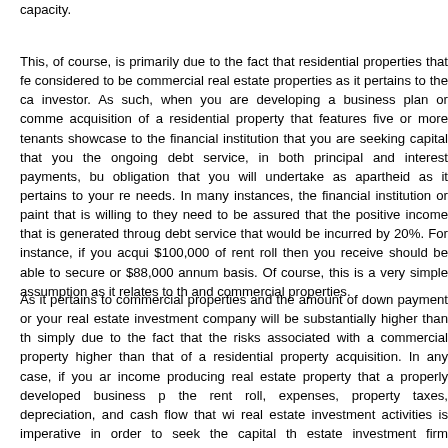capacity.
This, of course, is primarily due to the fact that residential properties that fe considered to be commercial real estate properties as it pertains to the ca investor. As such, when you are developing a business plan or comme acquisition of a residential property that features five or more tenants showcase to the financial institution that you are seeking capital that you the ongoing debt service, in both principal and interest payments, bu obligation that you will undertake as apartheid as it pertains to your re needs. In many instances, the financial institution or paint that is willing to they need to be assured that the positive income that is generated throug debt service that would be incurred by 20%. For instance, if you acqui $100,000 of rent roll then you receive should be able to secure or $88,000 annum basis. Of course, this is a very simple assumption as it relates to th and commercial properties.
As it pertains to commercial properties and the amount of down payment or your real estate investment company will be substantially higher than th simply due to the fact that the risks associated with a commercial property higher than that of a residential property acquisition. In any case, if you ar income producing real estate property that a properly developed business p the rent roll, expenses, property taxes, depreciation, and cash flow that wi real estate investment activities is imperative in order to seek the capital th estate investment firm operations. As you progress through your real estat activities is imperative that you focus on the specific issues as yo